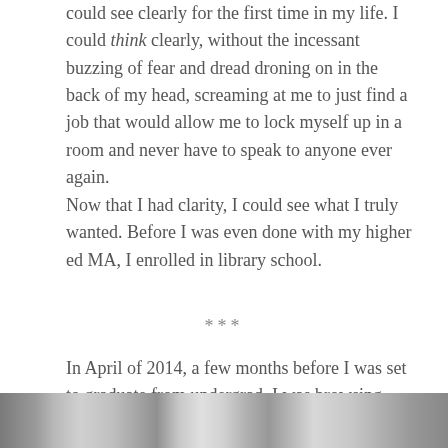could see clearly for the first time in my life. I could think clearly, without the incessant buzzing of fear and dread droning on in the back of my head, screaming at me to just find a job that would allow me to lock myself up in a room and never have to speak to anyone ever again.
Now that I had clarity, I could see what I truly wanted. Before I was even done with my higher ed MA, I enrolled in library school.
***
In April of 2014, a few months before I was set to graduate from undergrad, I was browsing Facebook, when I came upon this post from Humans of New York:
[Figure (photo): Partial photograph strip at the bottom of the page, showing a grayscale/color image that is cut off]